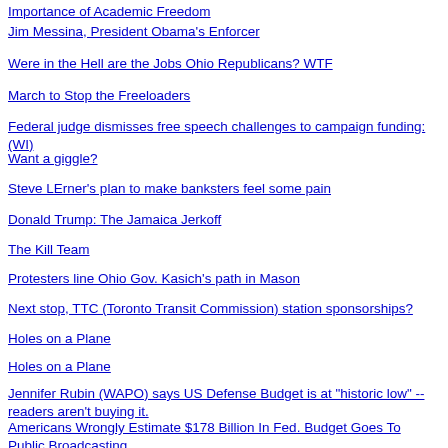Importance of Academic Freedom
Jim Messina, President Obama's Enforcer
Were in the Hell are the Jobs Ohio Republicans? WTF
March to Stop the Freeloaders
Federal judge dismisses free speech challenges to campaign funding: (WI)
Want a giggle?
Steve LErner's plan to make banksters feel some pain
Donald Trump: The Jamaica Jerkoff
The Kill Team
Protesters line Ohio Gov. Kasich's path in Mason
Next stop, TTC (Toronto Transit Commission) station sponsorships?
Holes on a Plane
Holes on a Plane
Jennifer Rubin (WAPO) says US Defense Budget is at "historic low" -- readers aren't buying it.
Americans Wrongly Estimate $178 Billion In Fed. Budget Goes To Public Broadcasting
Fighting rages in Ivory Coast with 800 dead in west